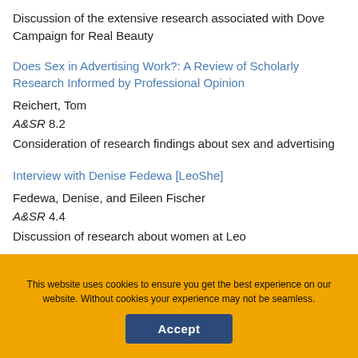Discussion of the extensive research associated with Dove Campaign for Real Beauty
Does Sex in Advertising Work?: A Review of Scholarly Research Informed by Professional Opinion
Reichert, Tom
A&SR 8.2
Consideration of research findings about sex and advertising
Interview with Denise Fedewa [LeoShe]
Fedewa, Denise, and Eileen Fischer
A&SR 4.4
Discussion of research about women at Leo
This website uses cookies to ensure you get the best experience on our website. Without cookies your experience may not be seamless.